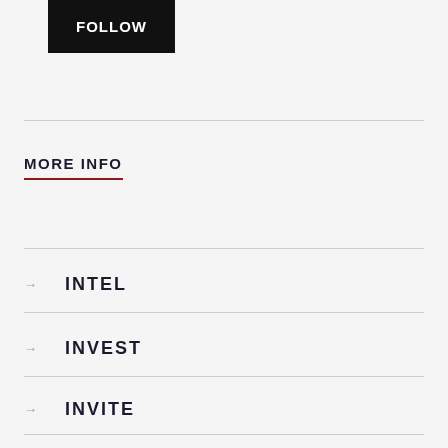FOLLOW
MORE INFO
→ INTEL
→ INVEST
→ INVITE